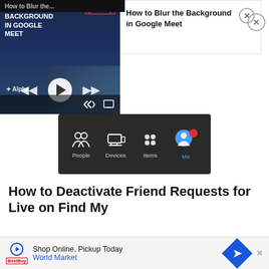[Figure (screenshot): Video player for 'How to Blur the Background in Google Meet' with Primis badge, playback controls, and Find My app navigation bar showing People, Devices, Items, Me tabs]
How to Deactivate Friend Requests for Live on Find My
If you want to limit the number of people tracking you but wish to keep your location on, disabling requests for sharing is the perfect solution. This will prevent individuals from
[Figure (screenshot): Advertisement banner: Shop Online, Pickup Today - World Market with navigation arrow icon]